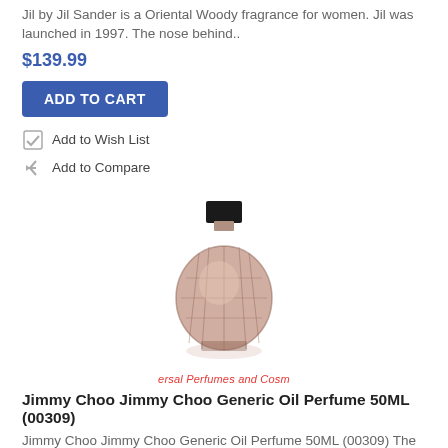Jil by Jil Sander is a Oriental Woody fragrance for women. Jil was launched in 1997. The nose behind..
$139.99
ADD TO CART
Add to Wish List
Add to Compare
[Figure (photo): Jimmy Choo perfume bottle - faceted crystal-like bottle with black square cap, rose/amber colored]
ersal Perfumes and Cosm
Jimmy Choo Jimmy Choo Generic Oil Perfume 50ML (00309)
Jimmy Choo Jimmy Choo Generic Oil Perfume 50ML (00309) The most popular brand of luxury shoes and..
$39.99
ADD TO CART
Add to Wish List